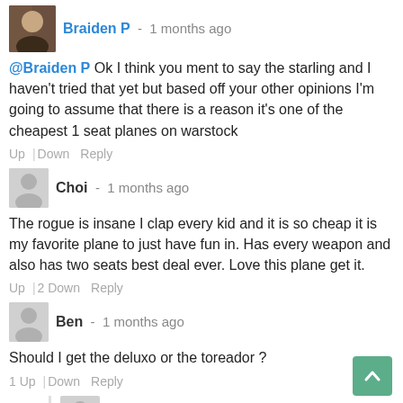Braiden P - 1 months ago
@Braiden P Ok I think you ment to say the starling and I haven't tried that yet but based off your other opinions I'm going to assume that there is a reason it's one of the cheapest 1 seat planes on warstock
Up | Down Reply
Choi - 1 months ago
The rogue is insane I clap every kid and it is so cheap it is my favorite plane to just have fun in. Has every weapon and also has two seats best deal ever. Love this plane get it.
Up | 2 Down Reply
Ben - 1 months ago
Should I get the deluxo or the toreador ?
1 Up | Down Reply
Eazy E - 1 months ago
Toreador
1 Up | Down Reply